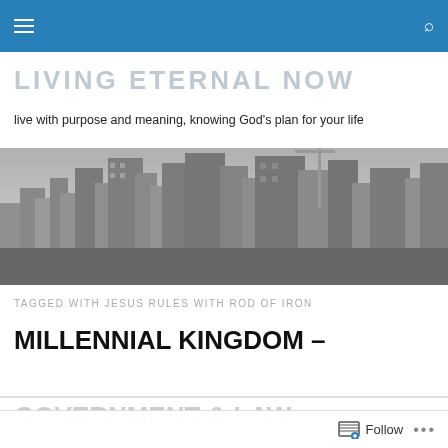Navigation bar with menu and search icons
LIVING ETERNAL NOW
live with purpose and meaning, knowing God's plan for your life
[Figure (photo): Black and white aerial photograph of a city skyline with skyscrapers]
TAGGED WITH JESUS RULES WITH ROD OF IRON
MILLENNIAL KINGDOM –
GOVERNMENT & LAW
Follow ...